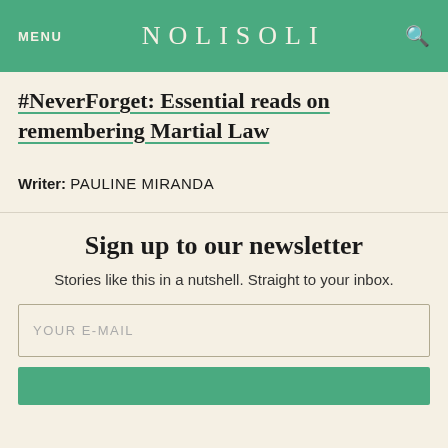MENU   NOLISOLI   🔍
#NeverForget: Essential reads on remembering Martial Law
Writer: PAULINE MIRANDA
Sign up to our newsletter
Stories like this in a nutshell. Straight to your inbox.
YOUR E-MAIL